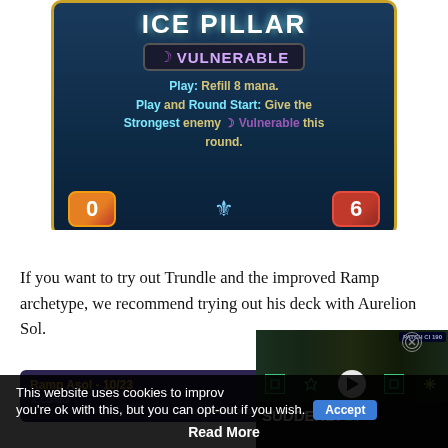[Figure (screenshot): Ice Pillar game card with Vulnerable keyword badge, card text, and 0/6 stats]
If you want to try out Trundle and the improved Ramp archetype, we recommend trying out his deck with Aurelion Sol.
[Figure (screenshot): Ramp Asol - 10/23 deck preview panel, partially obscured by ad overlay]
[Figure (screenshot): Ad overlay showing game characters with SUDDENLY OP text and play button]
This website uses cookies to improve your experience. We'll assume you're ok with this, but you can opt-out if you wish.
Read More